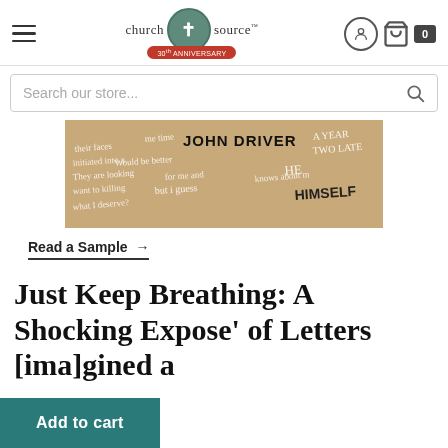[Figure (screenshot): ChurchSource website header with hamburger menu, logo, user icon, and cart icon showing 0 items]
[Figure (screenshot): Search bar with placeholder text 'Search our store...' and magnifier icon]
[Figure (photo): Book cover image showing handwritten text on kraft paper background with 'JOHN DRIVER', 'A YEAR', 'TWO LATE', 'HE', 'HIMSELF' and other handwritten text]
Read a Sample →
Just Keep Breathing: A Shocking Expose' of Letters [ima]gined a
Add to cart